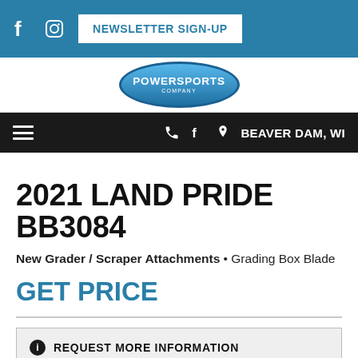NEWSLETTER SIGN-UP | Social icons: Facebook, Instagram
[Figure (logo): Powersports Company oval logo in blue gradient]
BEAVER DAM, WI | Navigation bar with hamburger menu, phone, and Facebook icons
2021 LAND PRIDE BB3084
New Grader / Scraper Attachments • Grading Box Blade
GET PRICE
REQUEST MORE INFORMATION